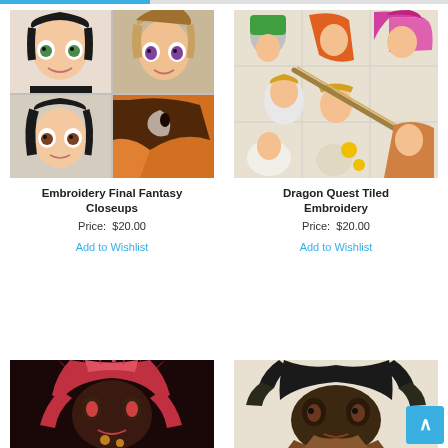[Figure (photo): Embroidery Final Fantasy Closeups - grid of four anime character face closeups in cross-stitch style]
Embroidery Final Fantasy Closeups
Price:  $20.00
Add to Wishlist
[Figure (photo): Dragon Quest Tiled Embroidery - colorful tiled cross-stitch image of Dragon Quest characters]
Dragon Quest Tiled Embroidery
Price:  $20.00
Add to Wishlist
[Figure (photo): Partial view of a red-haired character embroidery, bottom-left product]
[Figure (photo): Partial view of a dark-haired character embroidery, bottom-right product]